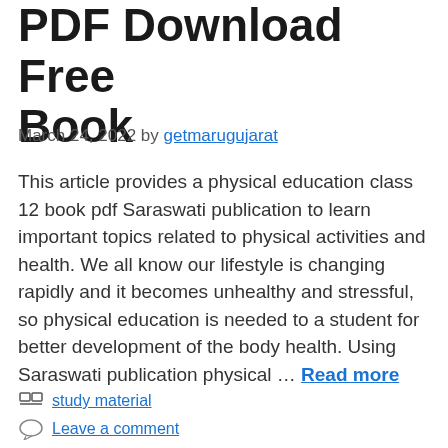PDF Download Free Book
March 24, 2022 by getmarugujarat
This article provides a physical education class 12 book pdf Saraswati publication to learn important topics related to physical activities and health. We all know our lifestyle is changing rapidly and it becomes unhealthy and stressful, so physical education is needed to a student for better development of the body health. Using Saraswati publication physical … Read more
study material
Leave a comment